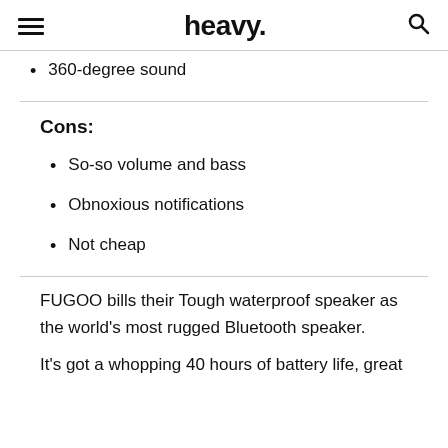heavy.
360-degree sound
Cons:
So-so volume and bass
Obnoxious notifications
Not cheap
FUGOO bills their Tough waterproof speaker as the world's most rugged Bluetooth speaker.
It's got a whopping 40 hours of battery life, great